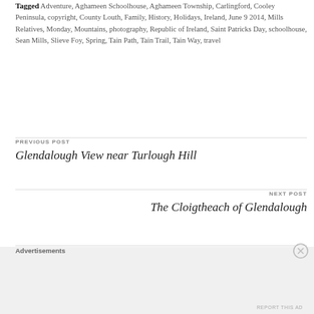Tagged Adventure, Aghameen Schoolhouse, Aghameen Township, Carlingford, Cooley Peninsula, copyright, County Louth, Family, History, Holidays, Ireland, June 9 2014, Mills Relatives, Monday, Mountains, photography, Republic of Ireland, Saint Patricks Day, schoolhouse, Sean Mills, Slieve Foy, Spring, Tain Path, Tain Trail, Tain Way, travel
PREVIOUS POST
Glendalough View near Turlough Hill
NEXT POST
The Cloigtheach of Glendalough
Advertisements
REPORT THIS AD